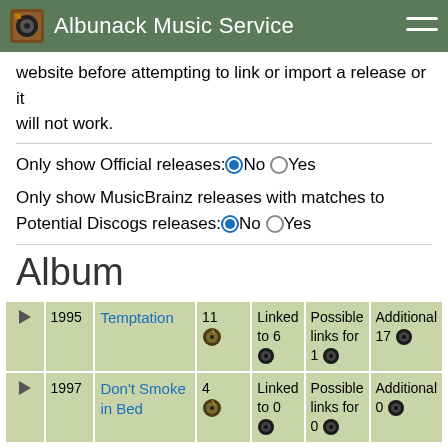Albunack Music Service
website before attempting to link or import a release or it will not work.
Only show Official releases: No Yes
Only show MusicBrainz releases with matches to Potential Discogs releases: No Yes
Album
|  | Year | Title | Count | Linked | Possible links for | Additional |
| --- | --- | --- | --- | --- | --- | --- |
| ▶ | 1995 | Temptation | 11 🎵 | Linked to 6 💿 | Possible links for 1 💿 | Additional 17 💿 |
| ▶ | 1997 | Don't Smoke in Bed | 4 🎵 | Linked to 0 💿 | Possible links for 0 💿 | Additional 0 💿 |